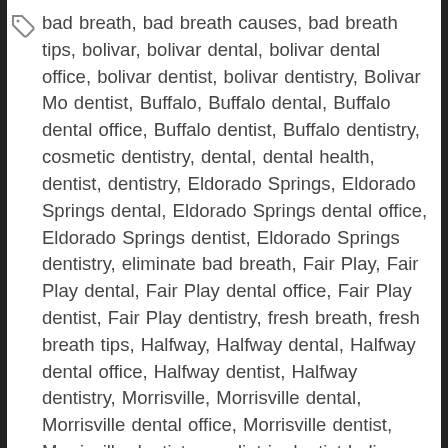bad breath, bad breath causes, bad breath tips, bolivar, bolivar dental, bolivar dental office, bolivar dentist, bolivar dentistry, Bolivar Mo dentist, Buffalo, Buffalo dental, Buffalo dental office, Buffalo dentist, Buffalo dentistry, cosmetic dentistry, dental, dental health, dentist, dentistry, Eldorado Springs, Eldorado Springs dental, Eldorado Springs dental office, Eldorado Springs dentist, Eldorado Springs dentistry, eliminate bad breath, Fair Play, Fair Play dental, Fair Play dental office, Fair Play dentist, Fair Play dentistry, fresh breath, fresh breath tips, Halfway, Halfway dental, Halfway dental office, Halfway dentist, Halfway dentistry, Morrisville, Morrisville dental, Morrisville dental office, Morrisville dentist, Morrisville dentistry, pediatric dentist bolivar, pediatric dentist Buffalo, pediatric dentist Eldorado Springs, pediatric dentist Fair Play, pediatric dentist Halfway, pediatric dentist Morrisville, pediatric dentist Pleasant Hope, pediatric dentist springfield, pediatric dentist Stockton, pediatric dentist Wheatland, Pleasant Hope, Pleasant Hope dental, Pleasant Hope dental office, Pleasant Hope dentist, Pleasant Hope dentistry, prevent bad breath, sedation dentistry, springfield, springfield dental, springfield dental office, springfield dentist, springfield dentistry, Stockton, Stockton dental, Stockton dental office, Stockton dentist, Stockton dentistry, Wheatland, Wheatland dental, Wheatland